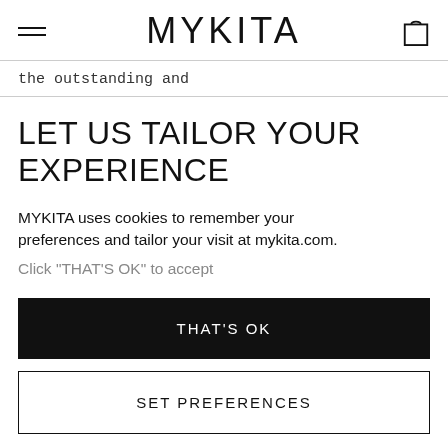MYKITA
the outstanding and
LET US TAILOR YOUR EXPERIENCE
MYKITA uses cookies to remember your preferences and tailor your visit at mykita.com. Click "THAT'S OK" to accept...
THAT'S OK
SET PREFERENCES